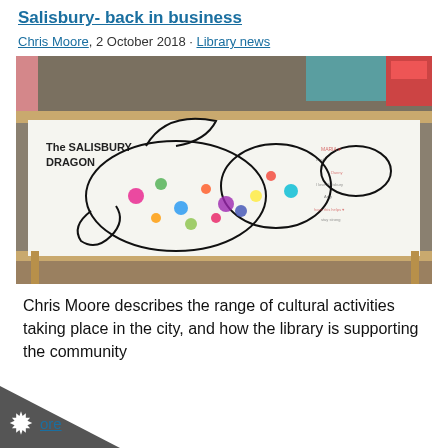Salisbury - back in business
Chris Moore, 2 October 2018 · Library news
[Figure (photo): Large collaborative artwork of a dragon outline on a white canvas panel, partially coloured in with markers and covered with handwritten signatures and messages. The dragon is titled 'The Salisbury Dragon' in the upper left. The canvas is propped on a wooden easel-style stand in what appears to be a workshop or community space.]
Chris Moore describes the range of cultural activities taking place in the city, and how the library is supporting the community
more